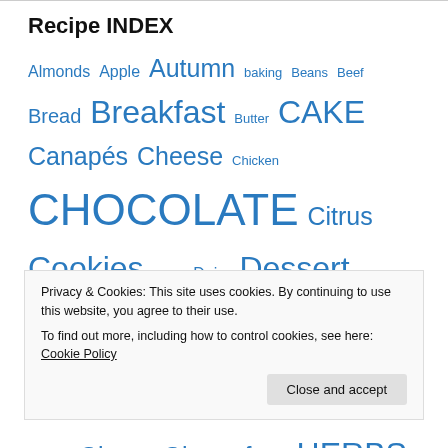Recipe INDEX
Almonds Apple Autumn baking Beans Beef Bread Breakfast Butter CAKE Canapés Cheese Chicken CHOCOLATE Citrus Cookies Curry Dairy Dessert Dip Dips England Fish Food France Fruits Garden vegetables Garlic Ginger Gluten-free HERBS Holland Honey Italy Jam Japan lemon Lentils Market Meat NEWS Nuts Oats Olives Paris Pasta Persian Pizza
Privacy & Cookies: This site uses cookies. By continuing to use this website, you agree to their use.
To find out more, including how to control cookies, see here: Cookie Policy
Close and accept